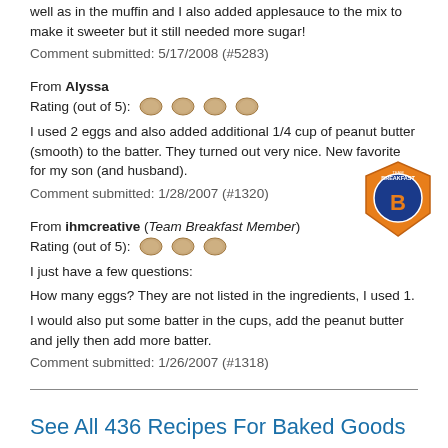well as in the muffin and I also added applesauce to the mix to make it sweeter but it still needed more sugar!
Comment submitted: 5/17/2008 (#5283)
From Alyssa
Rating (out of 5): [4 eggs]
I used 2 eggs and also added additional 1/4 cup of peanut butter (smooth) to the batter. They turned out very nice. New favorite for my son (and husband).
Comment submitted: 1/28/2007 (#1320)
From ihmcreative (Team Breakfast Member)
[Figure (logo): Team Breakfast badge/shield logo in orange and blue]
Rating (out of 5): [3 eggs]
I just have a few questions:
How many eggs? They are not listed in the ingredients, I used 1.
I would also put some batter in the cups, add the peanut butter and jelly then add more batter.
Comment submitted: 1/26/2007 (#1318)
See All 436 Recipes For Baked Goods